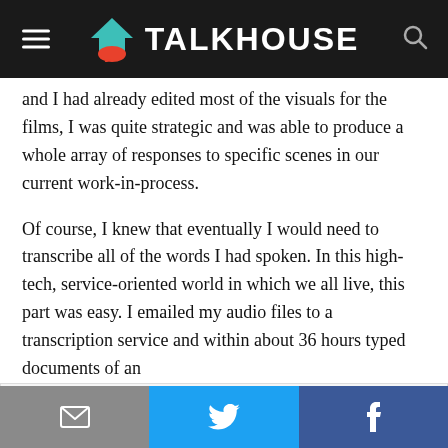TALKHOUSE
and I had already edited most of the visuals for the films, I was quite strategic and was able to produce a whole array of responses to specific scenes in our current work-in-process.
Of course, I knew that eventually I would need to transcribe all of the words I had spoken. In this high-tech, service-oriented world in which we all live, this part was easy. I emailed my audio files to a transcription service and within about 36 hours typed documents of an
Privacy & Cookies: This site uses cookies. By continuing to use this website, you agree to their use.
To find out more, including how to control cookies, see here: Cookie Policy